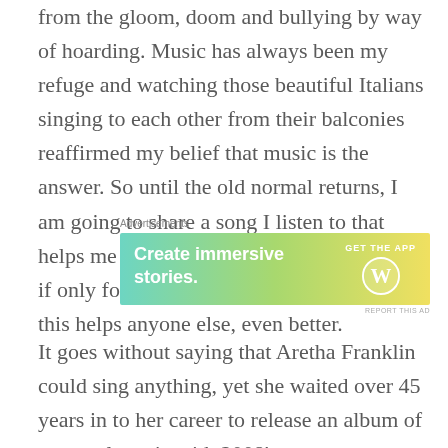from the gloom, doom and bullying by way of hoarding. Music has always been my refuge and watching those beautiful Italians singing to each other from their balconies reaffirmed my belief that music is the answer. So until the old normal returns, I am going to share a song I listen to that helps me escape the current state of things, if only for a few minutes each day. And if this helps anyone else, even better.
[Figure (other): WordPress advertisement banner: 'Create immersive stories. GET THE APP' with WordPress logo on a blue-green-yellow gradient background.]
It goes without saying that Aretha Franklin could sing anything, yet she waited over 45 years in to her career to release an album of seasonal music with 2008's